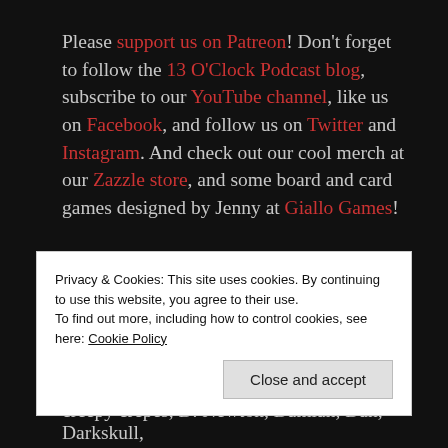Please support us on Patreon! Don't forget to follow the 13 O'Clock Podcast blog, subscribe to our YouTube channel, like us on Facebook, and follow us on Twitter and Instagram. And check out our cool merch at our Zazzle store, and some board and card games designed by Jenny at Giallo Games!
Visit Jenny's Amazon author page! And check out our awesome cookbook!
THANK YOU TO ALL OUR SUPPORTERS! The show is
Privacy & Cookies: This site uses cookies. By continuing to use this website, you agree to their use.
To find out more, including how to control cookies, see here: Cookie Policy
Close and accept
creepy crepes, D. Newton, Damian, Dan, Darkskull,